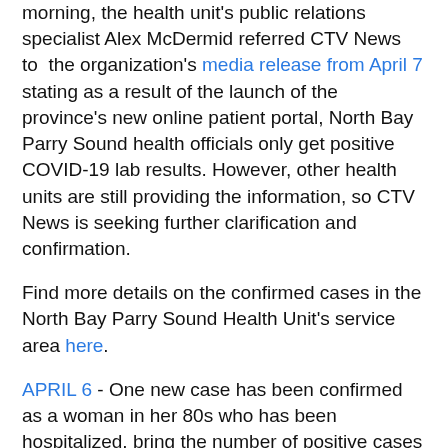morning, the health unit's public relations specialist Alex McDermid referred CTV News to the organization's media release from April 7 stating as a result of the launch of the province's new online patient portal, North Bay Parry Sound health officials only get positive COVID-19 lab results. However, other health units are still providing the information, so CTV News is seeking further clarification and confirmation.
Find more details on the confirmed cases in the North Bay Parry Sound Health Unit's service area here.
APRIL 6 - One new case has been confirmed as a woman in her 80s who has been hospitalized, bring the number of positive cases in the Nipissing and Parry Sound Districts to seven. Health officials say she was exposed during recent travel to Mexico.
APRIL 8 - A man in his 60s has tested positive for COVID-19 after travelling to Arizona. Health officials say he has